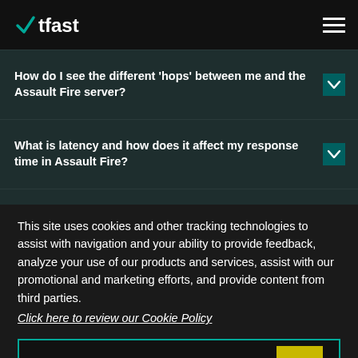WTFast
How do I see the different 'hops' between me and the Assault Fire server?
What is latency and how does it affect my response time in Assault Fire?
Help! My Assault Fire lag is the worst. How do I fix it?
This site uses cookies and other tracking technologies to assist with navigation and your ability to provide feedback, analyze your use of our products and services, assist with our promotional and marketing efforts, and provide content from third parties.
Click here to review our Cookie Policy
ACCEPT ALL
Accept mandatory and performance